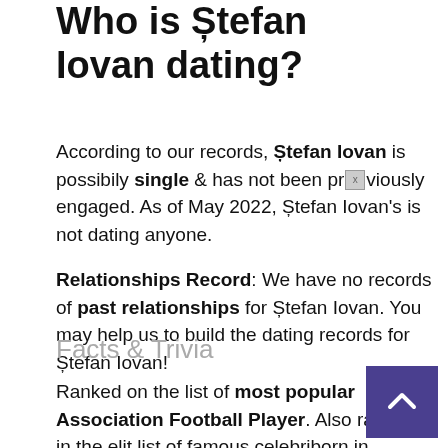Who is Ștefan Iovan dating?
According to our records, Ștefan Iovan is possibily single & has not been previously engaged. As of May 2022, Ștefan Iovan's is not dating anyone.
Relationships Record: We have no records of past relationships for Ștefan Iovan. You may help us to build the dating records for Ștefan Iovan!
Facts & Trivia
Ranked on the list of most popular Association Football Player. Also ranked in the elit list of famous celebrities born in Romania. Ștefan Iovan celebrates birthday on August 23 of